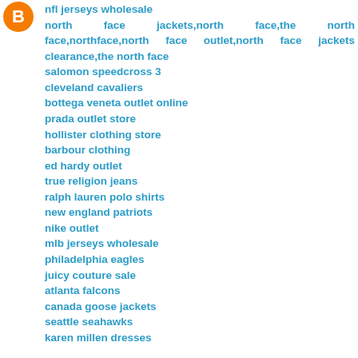[Figure (logo): Orange circular Blogger logo icon]
nfl jerseys wholesale
north face jackets,north face,the north face,northface,north face outlet,north face jackets clearance,the north face
salomon speedcross 3
cleveland cavaliers
bottega veneta outlet online
prada outlet store
hollister clothing store
barbour clothing
ed hardy outlet
true religion jeans
ralph lauren polo shirts
new england patriots
nike outlet
mlb jerseys wholesale
philadelphia eagles
juicy couture sale
atlanta falcons
canada goose jackets
seattle seahawks
karen millen dresses